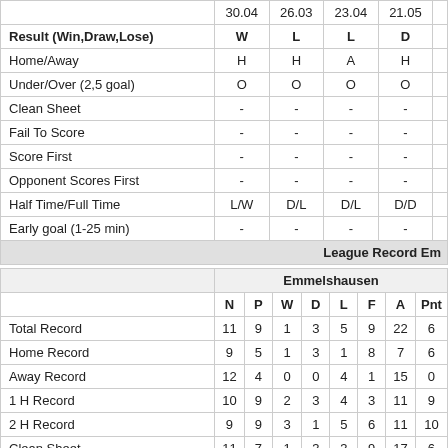|  | 30.04 | 26.03 | 23.04 | 21.05 |
| --- | --- | --- | --- | --- |
| Result (Win,Draw,Lose) | W | L | L | D |
| Home/Away | H | H | A | H |
| Under/Over (2,5 goal) | O | O | O | O |
| Clean Sheet | - | - | - | - |
| Fail To Score | - | - | - | - |
| Score First | - | - | - | - |
| Opponent Scores First | - | - | - | - |
| Half Time/Full Time | L/W | D/L | D/L | D/D |
| Early goal (1-25 min) | - | - | - | - |
| League Record Em... |  |  |  |  |
|  | N | P | W | D | L | F | A | Pnt |
| --- | --- | --- | --- | --- | --- | --- | --- | --- |
| Total Record | 11 | 9 | 1 | 3 | 5 | 9 | 22 | 6 |
| Home Record | 9 | 5 | 1 | 3 | 1 | 8 | 7 | 6 |
| Away Record | 12 | 4 | 0 | 0 | 4 | 1 | 15 | 0 |
| 1 H Record | 10 | 9 | 2 | 3 | 4 | 3 | 11 | 9 |
| 2 H Record | 9 | 9 | 3 | 1 | 5 | 6 | 11 | 10 |
| Clean Sheet | 11 | 7 | 1 | 3 | 3 | 9 | 17 | 6 |
| Fail to score | 3 | 9 | 1 | 3 | 5 | 9 | 22 | 6 |
| Score First | 10 | 0 | 0 | 0 | 0 | 0 | 0 | 0 |